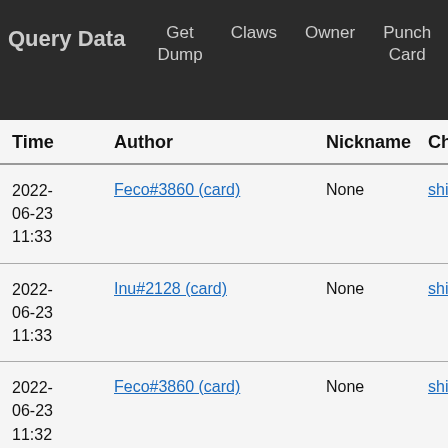Query Data | Get Dump | Claws | Owner | Punch Card | Call Log
| Time | Author | Nickname | Chann |
| --- | --- | --- | --- |
| 2022-06-23 11:33 | Feco#3860 (card) | None | shilling |
| 2022-06-23 11:33 | Inu#2128 (card) | None | shilling |
| 2022-06-23 11:32 | Feco#3860 (card) | None | shilling |